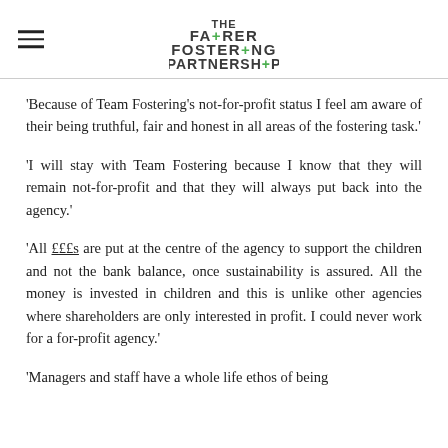Fairer Fostering Partnership — logo and navigation
'Because of Team Fostering's not-for-profit status I feel am aware of their being truthful, fair and honest in all areas of the fostering task.'
'I will stay with Team Fostering because I know that they will remain not-for-profit and that they will always put back into the agency.'
'All £££s are put at the centre of the agency to support the children and not the bank balance, once sustainability is assured. All the money is invested in children and this is unlike other agencies where shareholders are only interested in profit. I could never work for a for-profit agency.'
'Managers and staff have a whole life ethos of being